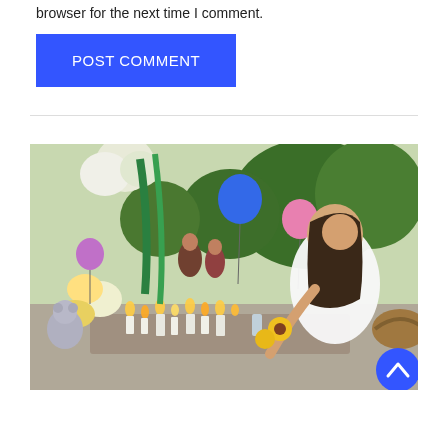browser for the next time I comment.
POST COMMENT
[Figure (photo): A young girl in a white dress leans down to place something at a memorial site with candles, flowers, balloons (blue and pink), and stuffed animals. Trees visible in the background with other people attending the memorial.]